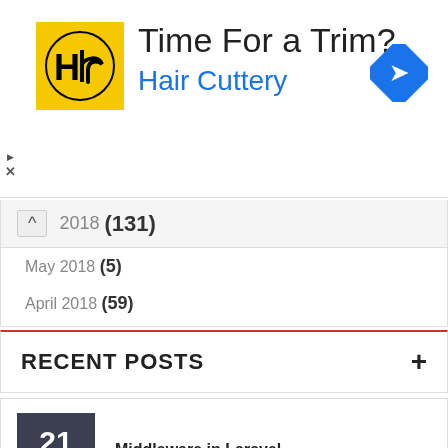[Figure (logo): Hair Cuttery advertisement banner with HC logo, 'Time For a Trim?' headline, and blue navigation arrow icon]
2018 (131)
May 2018 (5)
April 2018 (59)
RECENT POSTS
Middleware in Laravel — 21 JUL
Shopping Cart with Session and Eloquent ORM in Laravel — 19 JUL